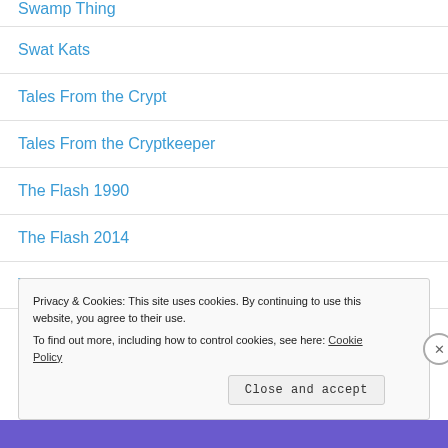Swamp Thing
Swat Kats
Tales From the Crypt
Tales From the Cryptkeeper
The Flash 1990
The Flash 2014
The Six Million Dollar Man
Privacy & Cookies: This site uses cookies. By continuing to use this website, you agree to their use.
To find out more, including how to control cookies, see here: Cookie Policy
Close and accept